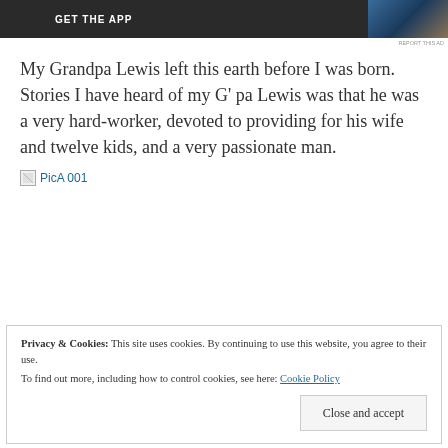[Figure (other): Dark advertisement banner with 'GET THE APP' text and a scenic photo of a tree by water on the right side]
My Grandpa Lewis left this earth before I was born.  Stories I have heard of my G' pa Lewis was that he was a very hard-worker, devoted to providing for his wife and twelve kids, and a very passionate man.
[Figure (other): Broken image placeholder labeled 'PicA 001']
Privacy & Cookies: This site uses cookies. By continuing to use this website, you agree to their use.
To find out more, including how to control cookies, see here: Cookie Policy
Close and accept